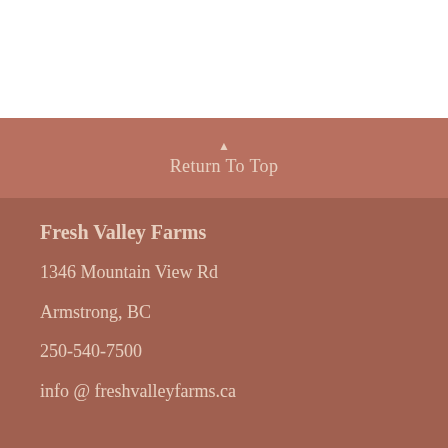Return To Top
Fresh Valley Farms
1346 Mountain View Rd
Armstrong, BC
250-540-7500
info @ freshvalleyfarms.ca